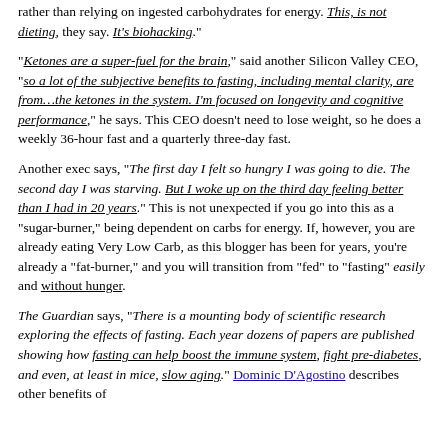rather than relying on ingested carbohydrates for energy. This, is not dieting, they say. It's biohacking."
"Ketones are a super-fuel for the brain," said another Silicon Valley CEO, "so a lot of the subjective benefits to fasting, including mental clarity, are from…the ketones in the system. I'm focused on longevity and cognitive performance," he says. This CEO doesn't need to lose weight, so he does a weekly 36-hour fast and a quarterly three-day fast.
Another exec says, "The first day I felt so hungry I was going to die. The second day I was starving. But I woke up on the third day feeling better than I had in 20 years." This is not unexpected if you go into this as a "sugar-burner," being dependent on carbs for energy. If, however, you are already eating Very Low Carb, as this blogger has been for years, you're already a "fat-burner," and you will transition from "fed" to "fasting" easily and without hunger.
The Guardian says, "There is a mounting body of scientific research exploring the effects of fasting. Each year dozens of papers are published showing how fasting can help boost the immune system, fight pre-diabetes, and even, at least in mice, slow aging." Dominic D'Agostino describes other benefits of